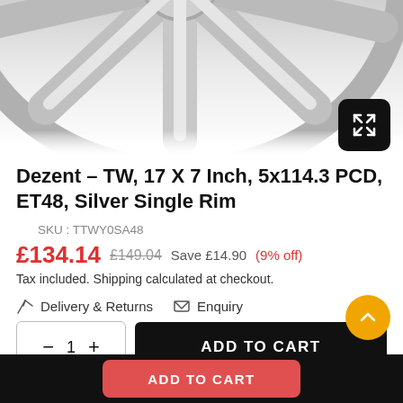[Figure (photo): Partial view of a silver alloy wheel (Dezent TW) cropped at top, silver finish, with a black expand/fullscreen button in the top-right corner]
Dezent – TW, 17 X 7 Inch, 5x114.3 PCD, ET48, Silver Single Rim
SKU : TTWY0SA48
£134.14  £149.04  Save £14.90  (9% off)
Tax included. Shipping calculated at checkout.
Delivery & Returns   Enquiry
− 1 +   ADD TO CART
ADD TO CART